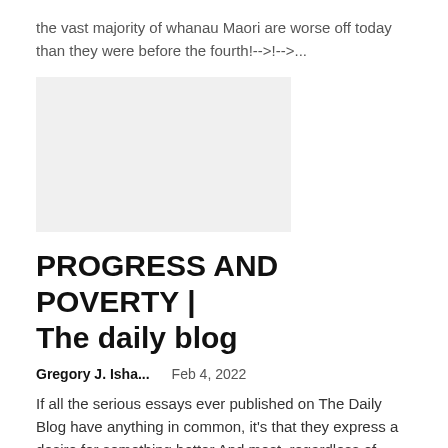the vast majority of whanau Maori are worse off today than they were before the fourth!-->!-->...
[Figure (other): Light grey rectangular placeholder image]
PROGRESS AND POVERTY | The daily blog
Gregory J. Isha...    Feb 4, 2022
If all the serious essays ever published on The Daily Blog have anything in common, it's that they express a desire for something better And most, regardless of politics or writers' biases, promote ideas that, in!-->!-->...